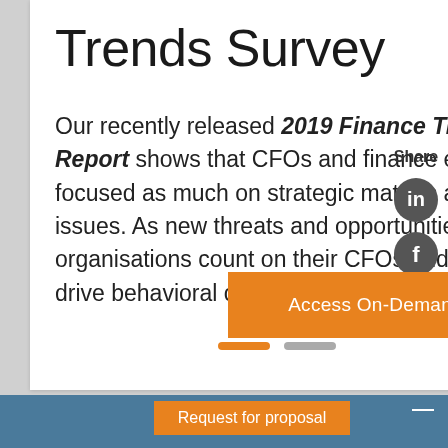Trends Survey
Our recently released 2019 Finance Trends Survey Report shows that CFOs and finance executives are focused as much on strategic matters as operational issues. As new threats and opportunities appear, organisations count on their CFOs and finance teams to drive behavioral changes.
[Figure (infographic): Share sidebar with LinkedIn, Facebook, and Twitter icons and 'Share' label]
[Figure (infographic): Orange button labeled 'Access On-Demand Recording']
[Figure (infographic): Pagination indicator: one orange bar and one grey bar]
[Figure (infographic): Blue section at bottom with 'Request for proposal' orange button and white dash]